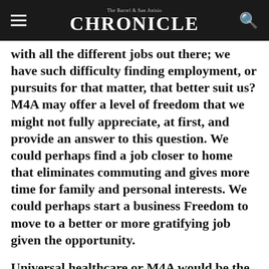The Barrel & San Anisio CHRONICLE
with all the different jobs out there; we have such difficulty finding employment, or pursuits for that matter, that better suit us? M4A may offer a level of freedom that we might not fully appreciate, at first, and provide an answer to this question. We could perhaps find a job closer to home that eliminates commuting and gives more time for family and personal interests. We could perhaps start a business Freedom to move to a better or more gratifying job given the opportunity.
Universal healthcare or M4A would be the most obvious solution. Healthcare that follows us in and out of employment would require unity and organizing by the government at the national level.